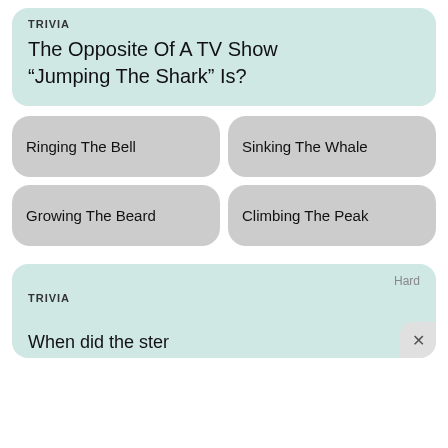TRIVIA
The Opposite Of A TV Show “Jumping The Shark” Is?
Ringing The Bell
Sinking The Whale
Growing The Beard
Climbing The Peak
TRIVIA
Hard